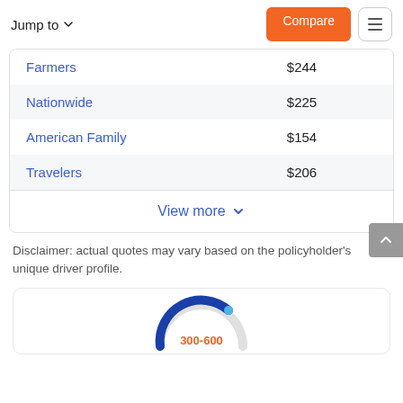Jump to   Compare
| Provider | Price |
| --- | --- |
| Farmers | $244 |
| Nationwide | $225 |
| American Family | $154 |
| Travelers | $206 |
View more
Disclaimer: actual quotes may vary based on the policyholder's unique driver profile.
[Figure (other): Partial gauge/donut chart showing range 300-600]